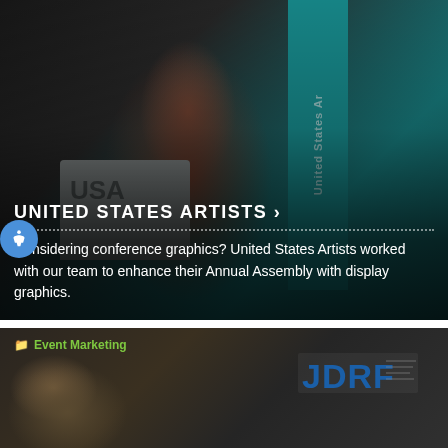[Figure (photo): A woman speaking at a podium at a United States Artists event, gesturing with raised arm, teal banner in background]
UNITED STATES ARTISTS ›
Considering conference graphics? United States Artists worked with our team to enhance their Annual Assembly with display graphics.
[Figure (photo): An event marketing photo showing a JDRF branded display at a conference]
Event Marketing